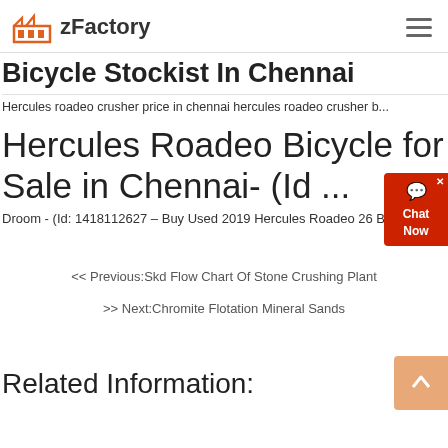zFactory
Bicycle Stockist In Chennai
Hercules roadeo crusher price in chennai hercules roadeo crusher b...
Hercules Roadeo Bicycle for Sale in Chennai- (Id ...
Droom - (Id: 1418112627 – Buy Used 2019 Hercules Roadeo 26 Bicycle onl...
<< Previous:Skd Flow Chart Of Stone Crushing Plant
>> Next:Chromite Flotation Mineral Sands
Related Information: